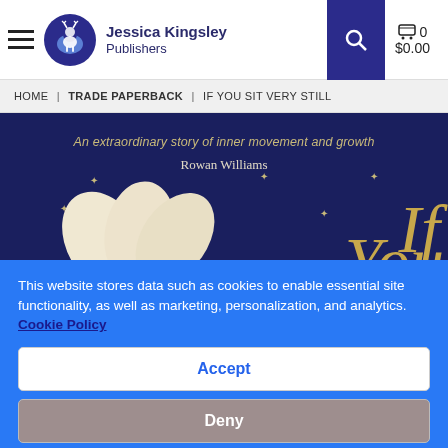[Figure (logo): Jessica Kingsley Publishers logo with deer icon, hamburger menu, search button, cart showing 0 items and $0.00]
HOME | TRADE PAPERBACK | IF YOU SIT VERY STILL
[Figure (photo): Book cover for 'If You Sit Very Still' by Rowan Williams, dark navy background with gold stars, cream flower petals, gold italic title text. Tagline: An extraordinary story of inner movement and growth]
This website stores data such as cookies to enable essential site functionality, as well as marketing, personalization, and analytics. Cookie Policy
Accept
Deny